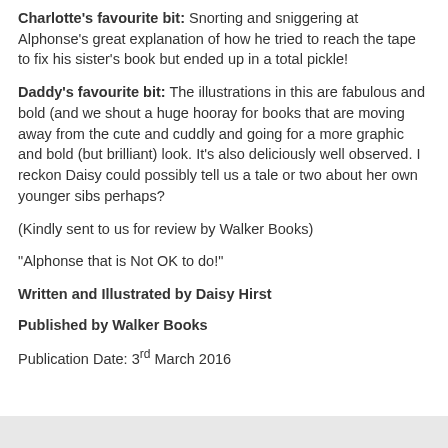Charlotte's favourite bit: Snorting and sniggering at Alphonse's great explanation of how he tried to reach the tape to fix his sister's book but ended up in a total pickle!
Daddy's favourite bit: The illustrations in this are fabulous and bold (and we shout a huge hooray for books that are moving away from the cute and cuddly and going for a more graphic and bold (but brilliant) look. It's also deliciously well observed. I reckon Daisy could possibly tell us a tale or two about her own younger sibs perhaps?
(Kindly sent to us for review by Walker Books)
"Alphonse that is Not OK to do!"
Written and Illustrated by Daisy Hirst
Published by Walker Books
Publication Date: 3rd March 2016